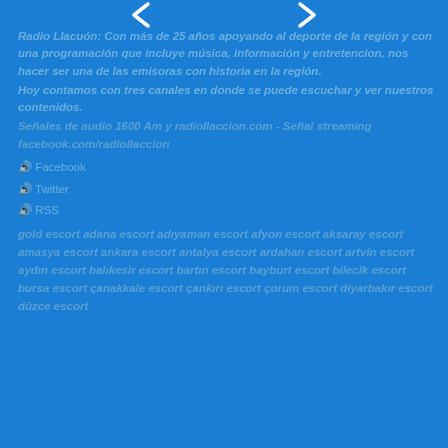[Figure (other): Blue background page header with two white chevron/arrow decorations at top corners]
Radio Llacuón: Con más de 25 años apoyando al deporte de la región y con una programación que incluye música, información y entretencion, nos hacer ser una de las emisoras con historia en la región.
Hoy contamos con tres canales en donde se puede escuchar y ver nuestros contenidos.
Señales de audio 1600 Am y radiollaccion.com - Señal streaming facebook.com/radiollaccion
🔊 Facebook
🔊 Twitter
🔊 RSS
gold escort adana escort adıyaman escort afyon escort aksaray escort amasya escort ankara escort antalya escort ardahan escort artvin escort aydın escort balıkesir escort bartın escort bayburt escort bilecik escort bursa escort çanakkale escort çankırı escort çorum escort diyarbakır escort düzce escort